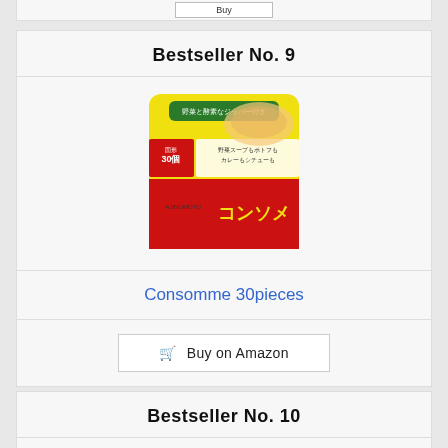Bestseller No. 9
[Figure (photo): Ajinomoto Consomme 30pieces product package - yellow and red bag with Japanese text]
Consomme 30pieces
Buy on Amazon
Bestseller No. 10